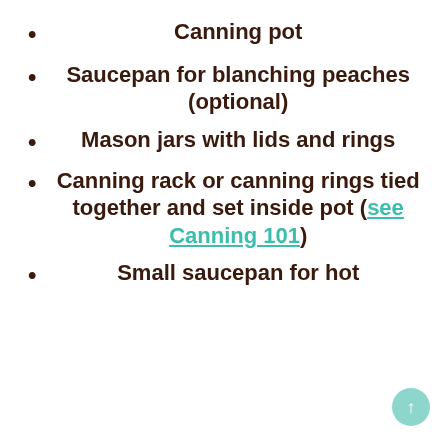Canning pot
Saucepan for blanching peaches (optional)
Mason jars with lids and rings
Canning rack or canning rings tied together and set inside pot (see Canning 101)
Small saucepan for hot